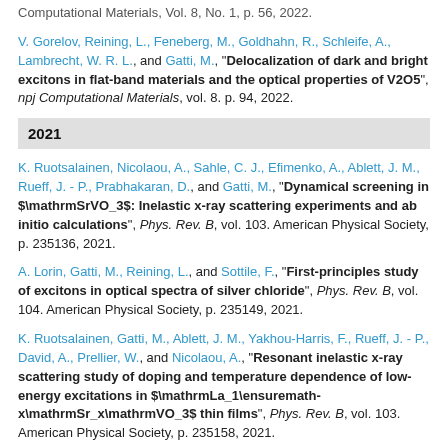Computational Materials, Vol. 8, No. 1, p. 56, 2022.
V. Gorelov, Reining, L., Feneberg, M., Goldhahn, R., Schleife, A., Lambrecht, W. R. L., and Gatti, M., "Delocalization of dark and bright excitons in flat-band materials and the optical properties of V2O5", npj Computational Materials, vol. 8. p. 94, 2022.
2021
K. Ruotsalainen, Nicolaou, A., Sahle, C. J., Efimenko, A., Ablett, J. M., Rueff, J. - P., Prabhakaran, D., and Gatti, M., "Dynamical screening in $\mathrmSrVO_3$: Inelastic x-ray scattering experiments and ab initio calculations", Phys. Rev. B, vol. 103. American Physical Society, p. 235136, 2021.
A. Lorin, Gatti, M., Reining, L., and Sottile, F., "First-principles study of excitons in optical spectra of silver chloride", Phys. Rev. B, vol. 104. American Physical Society, p. 235149, 2021.
K. Ruotsalainen, Gatti, M., Ablett, J. M., Yakhou-Harris, F., Rueff, J. - P., David, A., Prellier, W., and Nicolaou, A., "Resonant inelastic x-ray scattering study of doping and temperature dependence of low-energy excitations in $\mathrmLa_1\ensuremath-x\mathrmSr_x\mathrmVO_3$ thin films", Phys. Rev. B, vol. 103. American Physical Society, p. 235158, 2021.